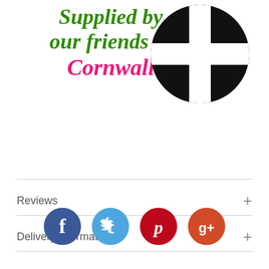Supplied by our friends in Cornwall
[Figure (logo): Cornish cross (black cross on circle) logo]
Reviews
Delivery information
[Figure (infographic): Social media icons: Facebook (dark blue), Twitter (light blue), Pinterest (dark red), Google+ (orange-red)]